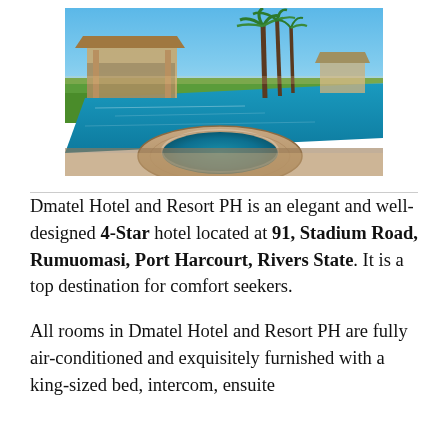[Figure (photo): Aerial/ground view of a tropical resort with an infinity pool and circular hot tub/jacuzzi in the foreground, palm trees and a pavilion/cabana structure in the background under a blue sky.]
Dmatel Hotel and Resort PH is an elegant and well-designed 4-Star hotel located at 91, Stadium Road, Rumuomasi, Port Harcourt, Rivers State. It is a top destination for comfort seekers.
All rooms in Dmatel Hotel and Resort PH are fully air-conditioned and exquisitely furnished with a king-sized bed, intercom, ensuite